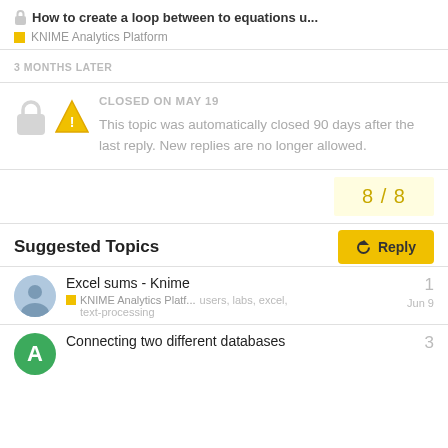🔒 How to create a loop between to equations u...
KNIME Analytics Platform
3 MONTHS LATER
CLOSED ON MAY 19
This topic was automatically closed 90 days after the last reply. New replies are no longer allowed.
8 / 8
Reply
Suggested Topics
Excel sums - Knime
KNIME Analytics Platf...   users, labs, excel, text-processing   Jun 9   1
Connecting two different databases   3